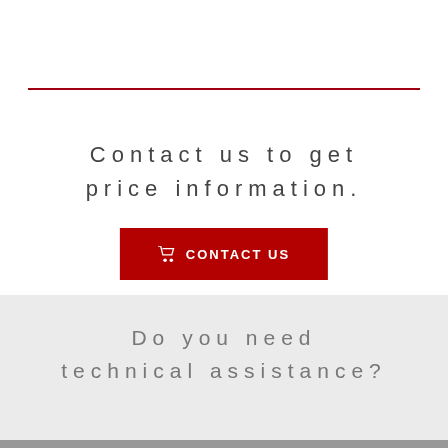Contact us to get price information.
CONTACT US
Do you need technical assistance?